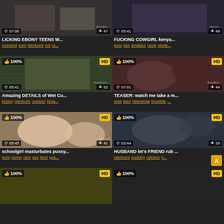[Figure (screenshot): Video thumbnail grid - adult video website with 8 video cards in 2-column layout]
LICKING EBONY TEENS W... | 07:06 | 47 views | cumshot cum hardcore hot bl...
FUCKING COWGIRL kenya... | 05:41 | 49 views | porn sex amateur nude sexta...
Amazing DETAILS of Wet Cu... | 05:41 | 52 views | 100% HD | licking hardcore outdoor blow...
TEASER: watch me take a m... | 07:01 | 44 views | 100% HD | anal teen interracial brunette ...
schoolgirl masturbates pussy... | 05:45 | 41 views | 100% HD | porn porno cum sex teen pus...
HUSBAND let's FRIEND rub ... | 03:44 | 39 views | 100% HD | hardcore sucking outdoor h...